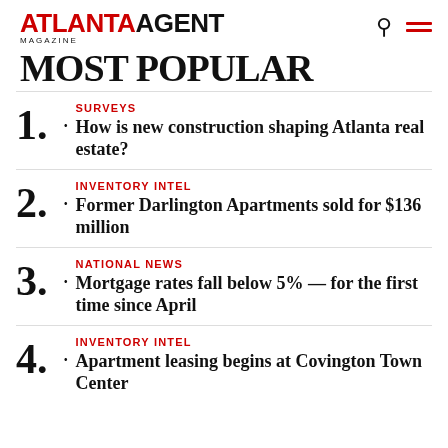ATLANTA AGENT MAGAZINE
MOST POPULAR
SURVEYS • How is new construction shaping Atlanta real estate?
INVENTORY INTEL • Former Darlington Apartments sold for $136 million
NATIONAL NEWS • Mortgage rates fall below 5% — for the first time since April
INVENTORY INTEL • Apartment leasing begins at Covington Town Center